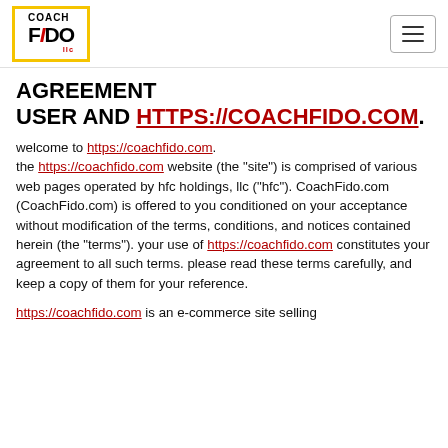[Figure (logo): CoachFido logo with yellow border, black text 'coach FIDO' and red accent]
AGREEMENT USER AND HTTPS://COACHFIDO.COM.
welcome to https://coachfido.com. the https://coachfido.com website (the "site") is comprised of various web pages operated by hfc holdings, llc ("hfc"). CoachFido.com (CoachFido.com) is offered to you conditioned on your acceptance without modification of the terms, conditions, and notices contained herein (the "terms"). your use of https://coachfido.com constitutes your agreement to all such terms. please read these terms carefully, and keep a copy of them for your reference.
https://coachfido.com is an e-commerce site selling